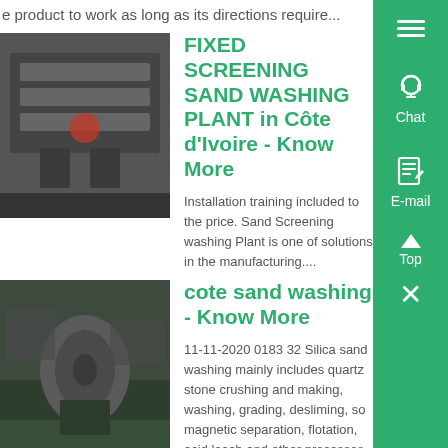e product to work as long as its directions require...
FIXED SCREENING SAND WASHING PLANT in Côte d'Ivoire - Know More
Installation training included to the price. Sand Screening washing Plant is one of solutions in the manufacturing....
[Figure (photo): Industrial screening machine equipment photo]
cote sand washing - Know More
11-11-2020 0183 32 Silica sand washing mainly includes quartz stone crushing and making, washing, grading, desliming, magnetic separation, flotation, acid leaching and other processes to remove the small amount or micro amount of impurities in silica sand and obtain refined silica high-purity silica sand for glass, ceramics, construction, chemical and d
[Figure (photo): Industrial crushing/sand washing plant equipment]